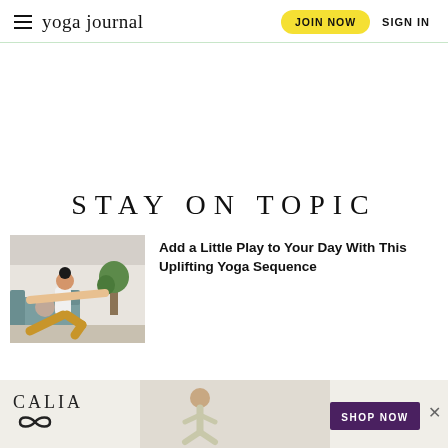yoga journal | JOIN NOW | SIGN IN
STAY ON TOPIC
[Figure (photo): Woman in yoga warrior pose in a living room setting, wearing white top and golden-orange pants, arms outstretched]
Add a Little Play to Your Day With This Uplifting Yoga Sequence
[Figure (photo): Advertisement banner for CALIA featuring a woman exercising, with SHOP NOW button]